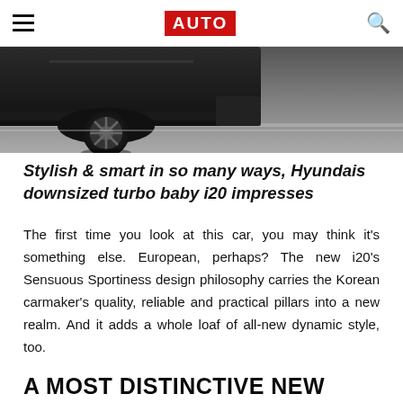AUTO
[Figure (photo): Bottom portion of a dark-coloured Hyundai i20 car on a grey road surface, showing the front wheel and lower body panels in a moody studio-style shot.]
Stylish & smart in so many ways, Hyundais downsized turbo baby i20 impresses
The first time you look at this car, you may think it's something else. European, perhaps? The new i20's Sensuous Sportiness design philosophy carries the Korean carmaker's quality, reliable and practical pillars into a new realm. And it adds a whole loaf of all-new dynamic style, too.
A MOST DISTINCTIVE NEW LOOK